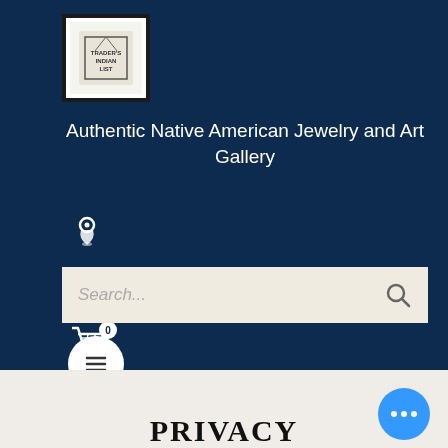[Figure (logo): Store logo in white bordered box with inner decorative emblem]
Authentic Native American Jewelry and Art Gallery
[Figure (infographic): Navigation icons: location pin, phone/chat, shopping cart with 0 badge]
[Figure (screenshot): Search input bar with placeholder text Search... and magnifying glass icon]
[Figure (infographic): Hamburger menu button (three lines) in white circle]
PRIVACY
[Figure (infographic): Blue circular chat bubble button with three dots]